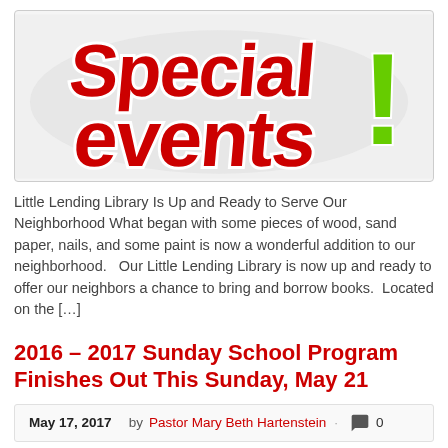[Figure (illustration): Special Events banner image with large red stylized text 'Special events!' with a green exclamation mark, on a white background with a light border.]
Little Lending Library Is Up and Ready to Serve Our Neighborhood What began with some pieces of wood, sand paper, nails, and some paint is now a wonderful addition to our neighborhood.   Our Little Lending Library is now up and ready to offer our neighbors a chance to bring and borrow books.  Located on the […]
2016 – 2017 Sunday School Program Finishes Out This Sunday, May 21
May 17, 2017    by Pastor Mary Beth Hartenstein ·  0